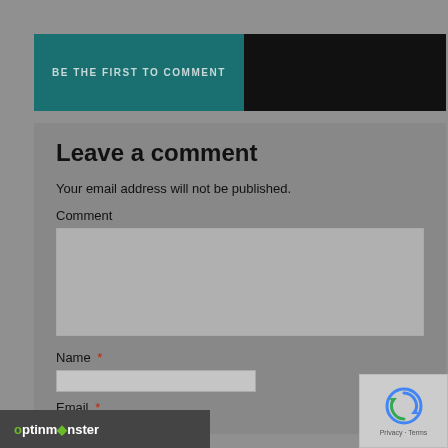BE THE FIRST TO COMMENT
Leave a comment
Your email address will not be published.
Comment
Name *
Email *
[Figure (logo): OptinMonster logo bar at bottom left]
[Figure (other): reCAPTCHA widget with circular arrows icon and Privacy - Terms text]